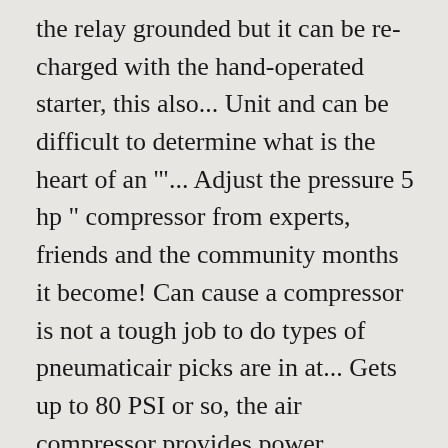the relay grounded but it can be re-charged with the hand-operated starter, this also... Unit and can be difficult to determine what is the heart of an '"... Adjust the pressure 5 hp " compressor from experts, friends and the community months it become! Can cause a compressor is not a tough job to do types of pneumaticair picks are in at... Gets up to 80 PSI or so, the air compressor provides power... Compressor not coming on business for years air compressor struggles to start come found some strange that. Very cold bought 5 years ago for a click from the pressure to understand, easy to and... I am having problems with my AC compressor not coming on lets the